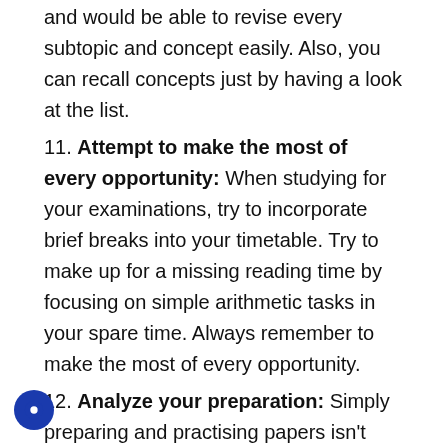and would be able to revise every subtopic and concept easily. Also, you can recall concepts just by having a look at the list.
11. Attempt to make the most of every opportunity: When studying for your examinations, try to incorporate brief breaks into your timetable. Try to make up for a missing reading time by focusing on simple arithmetic tasks in your spare time. Always remember to make the most of every opportunity.
12. Analyze your preparation: Simply preparing and practising papers isn't enough to get excellent results on the CBSE test; you'll also need to analyse your performance. Read through the...